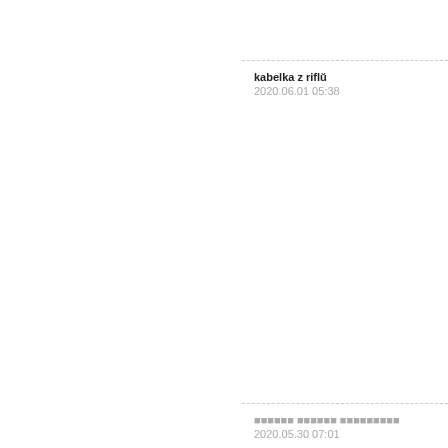kabelka z riflů
2020.06.01 05:38
xxxxxxx xxxxxx xxxxxxxxx
2020.05.30 07:01
nike react undercover jun takahashi blanche transparente noir vinted
2020.05.28 14:17